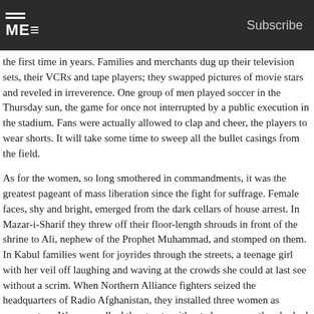ME  Subscribe
the first time in years. Families and merchants dug up their television sets, their VCRs and tape players; they swapped pictures of movie stars and reveled in irreverence. One group of men played soccer in the Thursday sun, the game for once not interrupted by a public execution in the stadium. Fans were actually allowed to clap and cheer, the players to wear shorts. It will take some time to sweep all the bullet casings from the field.
As for the women, so long smothered in commandments, it was the greatest pageant of mass liberation since the fight for suffrage. Female faces, shy and bright, emerged from the dark cellars of house arrest. In Mazar-i-Sharif they threw off their floor-length shrouds in front of the shrine to Ali, nephew of the Prophet Muhammad, and stomped on them. In Kabul families went for joyrides through the streets, a teenage girl with her veil off laughing and waving at the crowds she could at last see without a scrim. When Northern Alliance fighters seized the headquarters of Radio Afghanistan, they installed three women as newscasters. Women walked the streets without chaperones; they looked up and felt the sun on their skin; they went down to the river to wash.